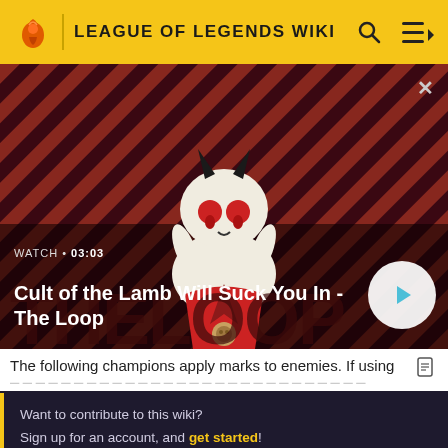LEAGUE OF LEGENDS WIKI
[Figure (screenshot): Video thumbnail showing Cult of the Lamb character on a red diagonal striped background, with play button overlay and title 'Cult of the Lamb Will Suck You In - The Loop', WATCH 03:03 label]
The following champions apply marks to enemies. If using
Want to contribute to this wiki? Sign up for an account, and get started! You can even turn off ads in your preferences.